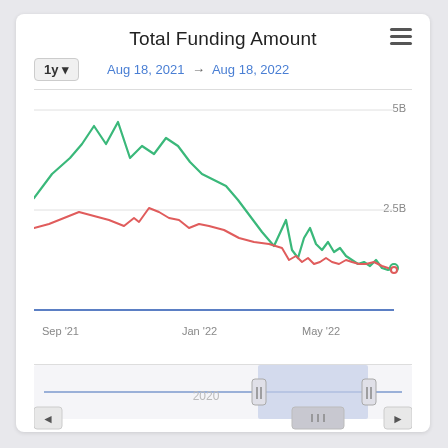Total Funding Amount
1y ▼   Aug 18, 2021 → Aug 18, 2022
[Figure (line-chart): Total Funding Amount]
2020
Asset Management
Top 10 Classifications
All Classifications
© ISVWorld